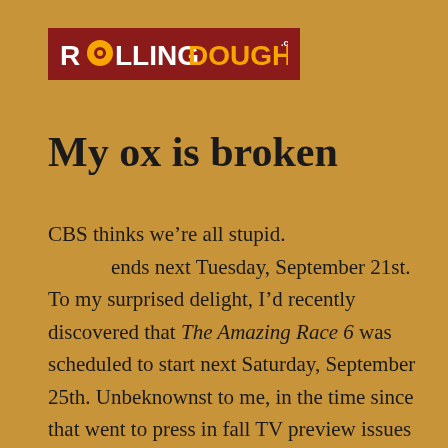[Figure (logo): Rolling Doughnut logo — red background rectangle with white text 'ROLLING' and orange text 'DOUGHNUT' in bold uppercase, with a doughnut icon replacing the 'O' in ROLLING, and '.com' superscript]
My ox is broken
CBS thinks we're all stupid. The Amazing Race 5 ends next Tuesday, September 21st. To my surprised delight, I'd recently discovered that The Amazing Race 6 was scheduled to start next Saturday, September 25th. Unbeknownst to me, in the time since that went to press in fall TV preview issues of magazines, the start date had been moved to Oct. 2nd. That's only a week, so I could survive that. Unfortunately, CBS decided that we viewers can't adjust to